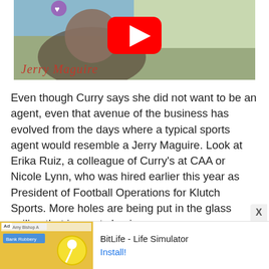[Figure (screenshot): YouTube video thumbnail for Jerry Maguire with red play button and movie title text in red cursive at the bottom]
Even though Curry says she did not want to be an agent, even that avenue of the business has evolved from the days where a typical sports agent would resemble a Jerry Maguire. Look at Erika Ruiz, a colleague of Curry's at CAA or Nicole Lynn, who was hired earlier this year as President of Football Operations for Klutch Sports. More holes are being put in the glass ceiling that is sports business.
[Figure (screenshot): BitLife - Life Simulator advertisement banner with yellow/colored game imagery on the left and Install! button link on the right]